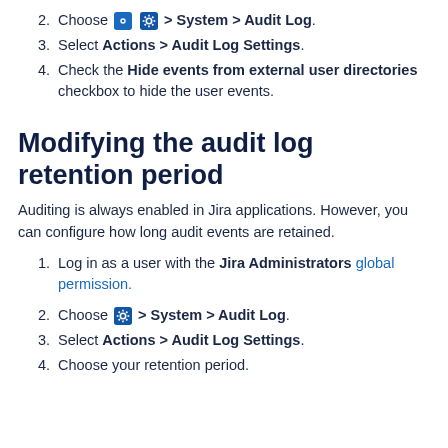2. Choose [gear] > System > Audit Log.
3. Select Actions > Audit Log Settings.
4. Check the Hide events from external user directories checkbox to hide the user events.
Modifying the audit log retention period
Auditing is always enabled in Jira applications. However, you can configure how long audit events are retained.
1. Log in as a user with the Jira Administrators global permission.
2. Choose [gear] > System > Audit Log.
3. Select Actions > Audit Log Settings.
4. Choose your retention period.